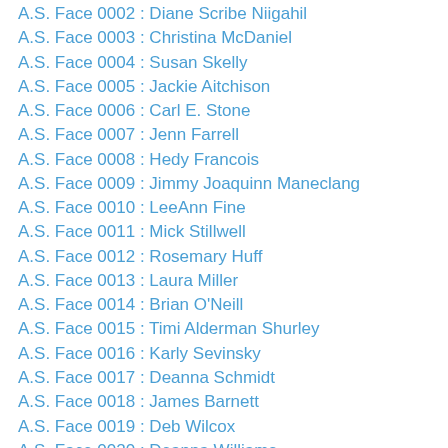A.S. Face 0002 : Diane Scribe Niigahil
A.S. Face 0003 : Christina McDaniel
A.S. Face 0004 : Susan Skelly
A.S. Face 0005 : Jackie Aitchison
A.S. Face 0006 : Carl E. Stone
A.S. Face 0007 : Jenn Farrell
A.S. Face 0008 : Hedy Francois
A.S. Face 0009 : Jimmy Joaquinn Maneclang
A.S. Face 0010 : LeeAnn Fine
A.S. Face 0011 : Mick Stillwell
A.S. Face 0012 : Rosemary Huff
A.S. Face 0013 : Laura Miller
A.S. Face 0014 : Brian O'Neill
A.S. Face 0015 : Timi Alderman Shurley
A.S. Face 0016 : Karly Sevinsky
A.S. Face 0017 : Deanna Schmidt
A.S. Face 0018 : James Barnett
A.S. Face 0019 : Deb Wilcox
A.S. Face 0020 : Deanna Williams
A.S. Face 0021 : Jake Chegahno